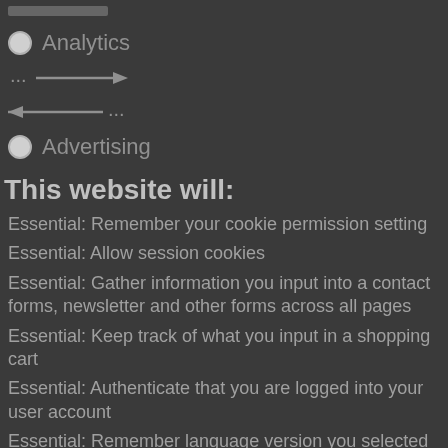[Figure (other): Grey horizontal bar element at top]
Analytics
[Figure (other): Arrow pointing right: ...→]
[Figure (other): Arrow pointing left: ←...]
Advertising
This website will:
Essential: Remember your cookie permission setting
Essential: Allow session cookies
Essential: Gather information you input into a contact forms, newsletter and other forms across all pages
Essential: Keep track of what you input in a shopping cart
Essential: Authenticate that you are logged into your user account
Essential: Remember language version you selected
This website won't:
Remember your login details
Functionality: Remember social media settings
Functionality: Remember selected region and country
Analytics: Keep track of your visited pages and interaction taken